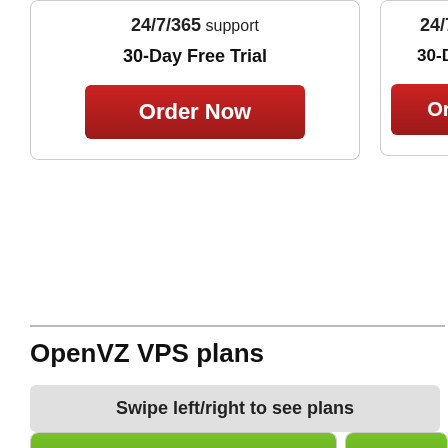24/7/365 support
30-Day Free Trial
Order Now
24/7/3...
30-Day...
Ord...
OpenVZ VPS plans
Swipe left/right to see plans
OVZ 1
BASE V...